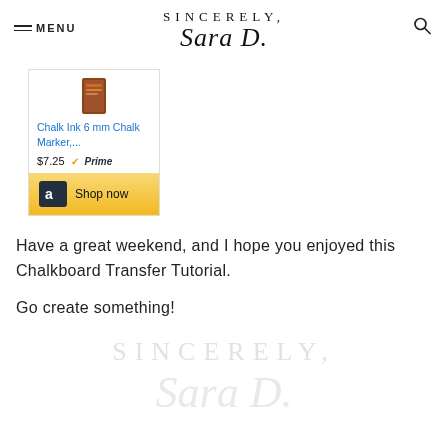SINCERELY, Sara D. — MENU / Search
[Figure (screenshot): Amazon product widget showing Chalk Ink 6 mm Chalk Marker priced at $7.25 with Prime badge and Shop now button]
Have a great weekend, and I hope you enjoyed this Chalkboard Transfer Tutorial.
Go create something!
[Figure (logo): Sincerely, Sara D. blog logo in light gray watermark at bottom of page]